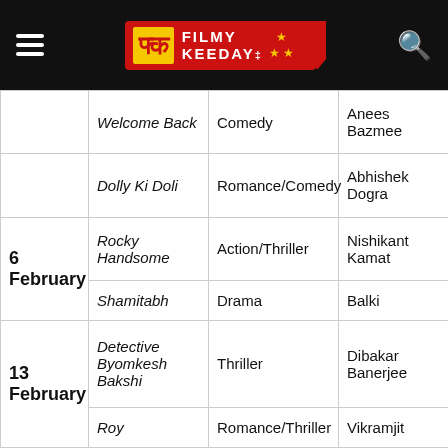Filmy Keeday
| Date | Film | Genre | Director | Cast |
| --- | --- | --- | --- | --- |
|  | Welcome Back | Comedy | Anees Bazmee | P... R... |
|  | Dolly Ki Doli | Romance/Comedy | Abhishek Dogra | S... S... R... |
| 6 February | Rocky Handsome | Action/Thriller | Nishikant Kamat | Jo... |
|  | Shamitabh | Drama | Balki | A... B... H... |
| 13 February | Detective Byomkesh Bakshi | Thriller | Dibakar Banerjee | S... R... M... |
|  | Roy | Romance/Thriller | Vikramjit | R... |